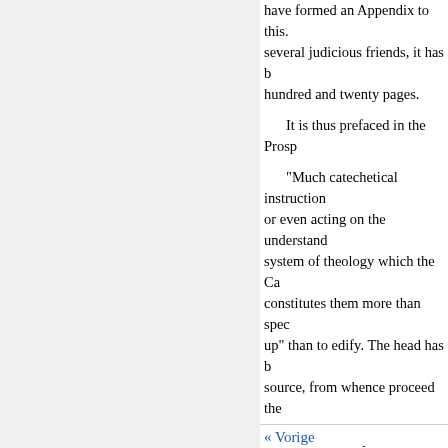have formed an Appendix to this. several judicious friends, it has b hundred and twenty pages.
It is thus prefaced in the Prosp
"Much catechetical instruction or even acting on the understand system of theology which the Ca constitutes them more than spec up" than to edify. The head has b source, from whence proceed the
"The second part of this Work scope of Scripture testimony. Ev recognized, while in some instan illustration of the Apostolic inju way of arriving at truth."
The Subscribers, if approving CORNELIUS Hanbury, Plough C Work. If a sufficient number of N published.
« Vorige